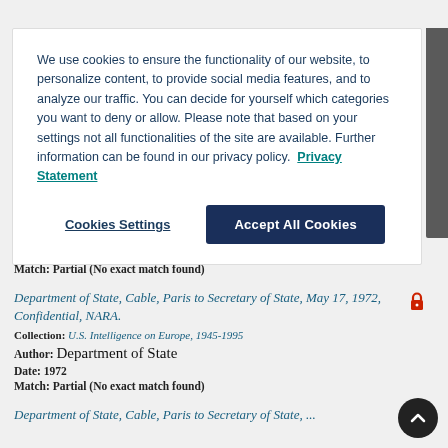We use cookies to ensure the functionality of our website, to personalize content, to provide social media features, and to analyze our traffic. You can decide for yourself which categories you want to deny or allow. Please note that based on your settings not all functionalities of the site are available. Further information can be found in our privacy policy. Privacy Statement
Cookies Settings | Accept All Cookies
Date: 1972
Match: Partial (No exact match found)
Department of State, Cable, Paris to Secretary of State, May 17, 1972, Confidential, NARA.
Collection: U.S. Intelligence on Europe, 1945-1995
Author: Department of State
Date: 1972
Match: Partial (No exact match found)
Department of State, Cable, Paris to Secretary of State, ...